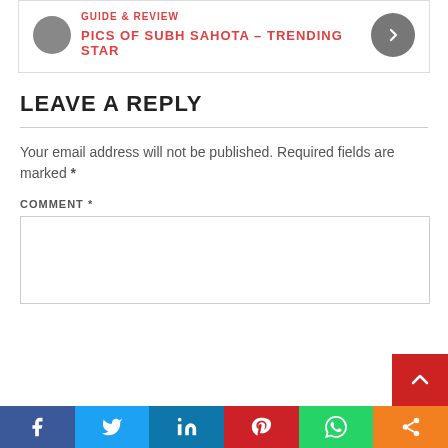GUIDE & REVIEW
PICS OF SUBH SAHOTA – TRENDING STAR
LEAVE A REPLY
Your email address will not be published. Required fields are marked *
COMMENT *